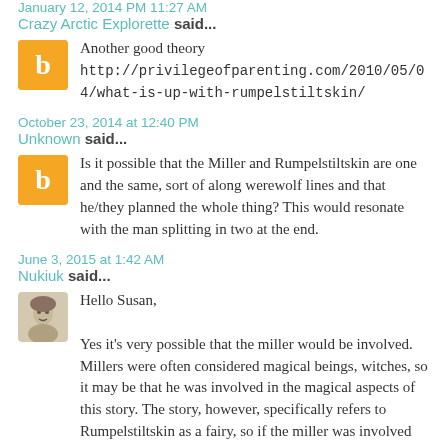January 12, 2014 PM 11:27 AM
Crazy Arctic Explorette said...
Another good theory http://privilegeofparenting.com/2010/05/04/what-is-up-with-rumpelstiltskin/
October 23, 2014 at 12:40 PM
Unknown said...
Is it possible that the Miller and Rumpelstiltskin are one and the same, sort of along werewolf lines and that he/they planned the whole thing? This would resonate with the man splitting in two at the end.
June 3, 2015 at 1:42 AM
Nukiuk said...
Hello Susan,
Yes it's very possible that the miller would be involved. Millers were often considered magical beings, witches, so it may be that he was involved in the magical aspects of this story. The story, however, specifically refers to Rumpelstiltskin as a fairy, so if the miller was involved it's likely that they were working together, rather than one and the same. There are, however, some few people whose familiar spirit is the spirit of an ancestor. An uncle or in